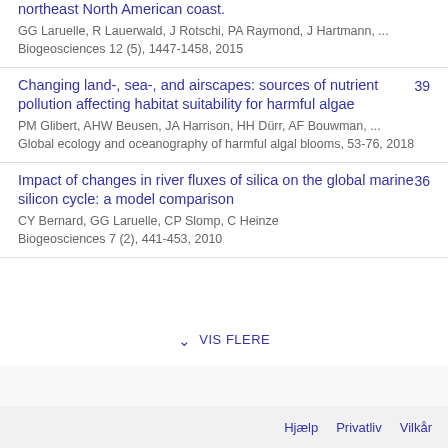northeast North American coast.
GG Laruelle, R Lauerwald, J Rotschi, PA Raymond, J Hartmann, ...
Biogeosciences 12 (5), 1447-1458, 2015
Changing land-, sea-, and airscapes: sources of nutrient pollution affecting habitat suitability for harmful algae
PM Glibert, AHW Beusen, JA Harrison, HH Dürr, AF Bouwman, ...
Global ecology and oceanography of harmful algal blooms, 53-76, 2018
39
Impact of changes in river fluxes of silica on the global marine silicon cycle: a model comparison
CY Bernard, GG Laruelle, CP Slomp, C Heinze
Biogeosciences 7 (2), 441-453, 2010
36
VIS FLERE
Hjælp   Privatliv   Vilkår